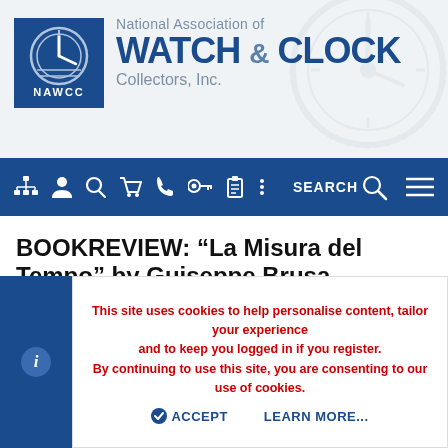[Figure (logo): NAWCC logo with clock face and NAWCC text in blue square]
National Association of WATCH & CLOCK Collectors, Inc.
[Figure (screenshot): Navigation bar with icons: site map, user, search, cart, phone, key, clipboard, more, SEARCH, hamburger menu]
BOOKREVIEW: “La Misura del Tempo” by Guiseppe Brusa
Fortunat Mueller-Maerki · Apr 13, 2006
This site uses cookies to help personalise content, tailor your experience and to keep you logged in if you register.
By continuing to use this site, you are consenting to our use of cookies.
ACCEPT   LEARN MORE...